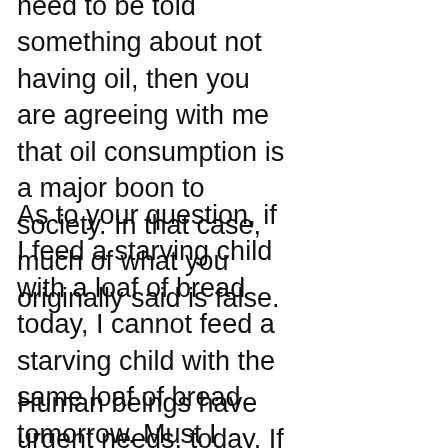need to be told something about not having oil, then you are agreeing with me that oil consumption is a major boon to society. In that case, much of what you originally said is false.
As to your question, if I feed a starving child with a loaf of bread today, I cannot feed a starving child with the same loaf of bread tomorrow. Must I answer to tomorrow's starving child after I have fed today's?
Human beings have urgent needs, today. If I can help satisfy some of society's needs today, then I have done a very good, positive thing for